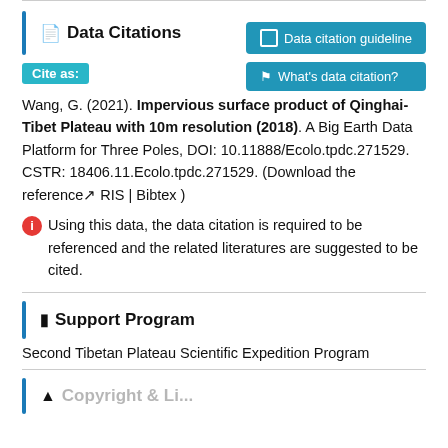Data Citations
Cite as:
Wang, G. (2021). Impervious surface product of Qinghai-Tibet Plateau with 10m resolution (2018). A Big Earth Data Platform for Three Poles, DOI: 10.11888/Ecolo.tpdc.271529. CSTR: 18406.11.Ecolo.tpdc.271529. (Download the reference↗ RIS | Bibtex )
Using this data, the data citation is required to be referenced and the related literatures are suggested to be cited.
Support Program
Second Tibetan Plateau Scientific Expedition Program